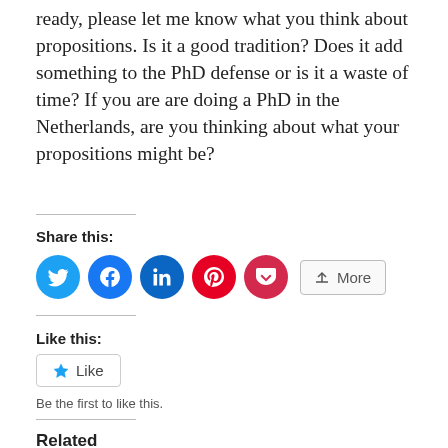ready, please let me know what you think about propositions. Is it a good tradition? Does it add something to the PhD defense or is it a waste of time? If you are are doing a PhD in the Netherlands, are you thinking about what your propositions might be?
Share this:
[Figure (other): Social share buttons: Twitter (blue), Facebook (blue), LinkedIn (teal), Pinterest (red), Pocket (pink/red), More button]
Like this:
[Figure (other): Like button with star icon]
Be the first to like this.
Related